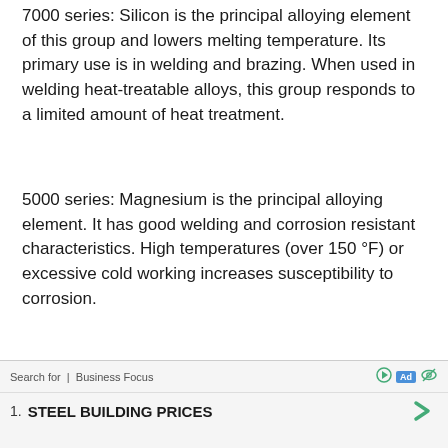7000 series: Silicon is the principal alloying element of this group and lowers melting temperature. Its primary use is in welding and brazing. When used in welding heat-treatable alloys, this group responds to a limited amount of heat treatment.
5000 series: Magnesium is the principal alloying element. It has good welding and corrosion resistant characteristics. High temperatures (over 150 °F) or excessive cold working increases susceptibility to corrosion.
6000 series: Silicon and magnesium form magnesium silicide, which makes alloys heat
Search for | Business Focus
1. STEEL BUILDING PRICES